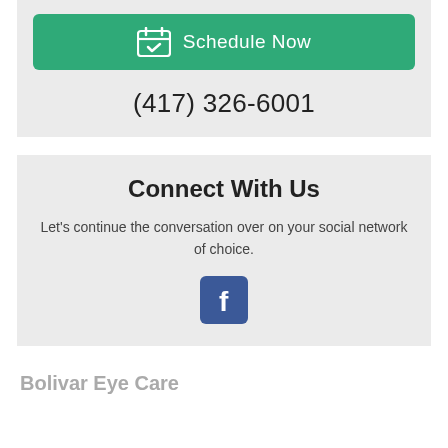[Figure (other): Green 'Schedule Now' button with calendar icon]
(417) 326-6001
Connect With Us
Let's continue the conversation over on your social network of choice.
[Figure (logo): Facebook logo icon, blue square with white 'f']
Bolivar Eye Care